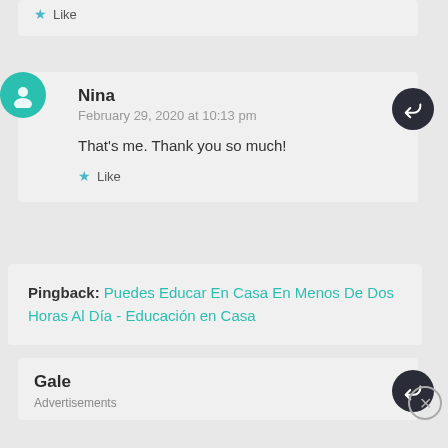Like
Nina
February 29, 2020 at 10:13 pm
That's me. Thank you so much!
Like
Pingback: Puedes Educar En Casa En Menos De Dos Horas Al Día - Educación en Casa
Gale
Advertisements